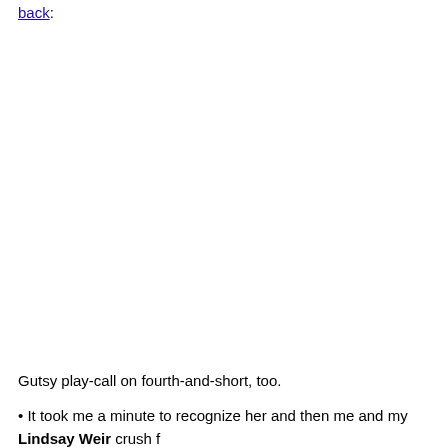back:
Gutsy play-call on fourth-and-short, too.
• It took me a minute to recognize her and then me and my Lindsay Weir crush f... see the perpetually underrated Linda Cardellini on "Mad Men." I'm now hoping f...